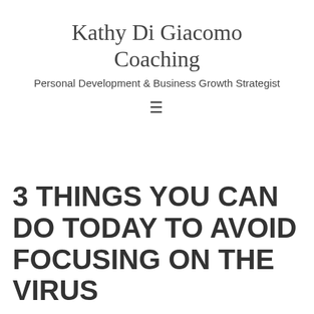Kathy Di Giacomo Coaching
Personal Development & Business Growth Strategist
3 THINGS YOU CAN DO TODAY TO AVOID FOCUSING ON THE VIRUS